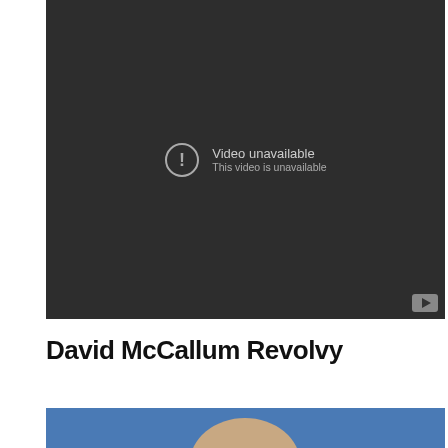[Figure (screenshot): YouTube video player showing 'Video unavailable' error message on dark background with YouTube button in bottom right corner]
David McCallum Revolvy
[Figure (photo): Partial photo of a person against a blue background, only the top of the head visible]